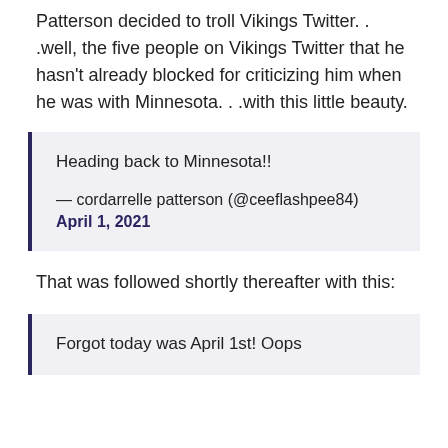Patterson decided to troll Vikings Twitter. . .well, the five people on Vikings Twitter that he hasn't already blocked for criticizing him when he was with Minnesota. . .with this little beauty.
Heading back to Minnesota!!

— cordarrelle patterson (@ceeflashpee84) April 1, 2021
That was followed shortly thereafter with this:
Forgot today was April 1st! Oops